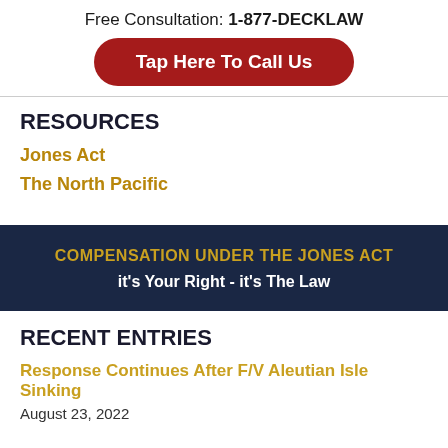Free Consultation: 1-877-DECKLAW
Tap Here To Call Us
RESOURCES
Jones Act
The North Pacific
COMPENSATION UNDER THE JONES ACT
it's Your Right - it's The Law
RECENT ENTRIES
Response Continues After F/V Aleutian Isle Sinking
August 23, 2022